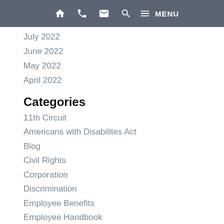Navigation bar with home, phone, email, search, and menu icons
July 2022
June 2022
May 2022
April 2022
Categories
11th Circuit
Americans with Disabilites Act
Blog
Civil Rights
Corporation
Discrimination
Employee Benefits
Employee Handbook
Employee Wages
Employment Contracts
Employment Law
ERISA
Family and Medical Leave Act (FMLA)
Firm News